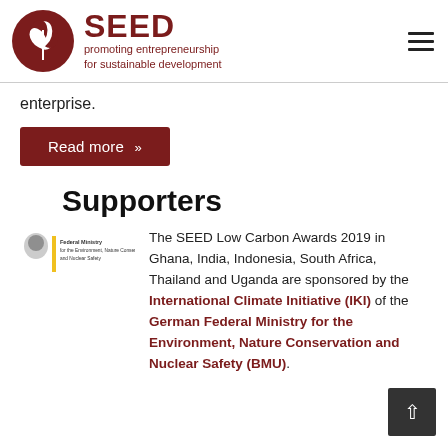[Figure (logo): SEED logo — dark red circle with stylized plant/sprout leaves in white, alongside text 'SEED' in bold dark red and subtitle 'promoting entrepreneurship for sustainable development' in dark red]
enterprise.
Read more »
Supporters
[Figure (logo): German Federal Ministry for the Environment, Nature Conservation and Nuclear Safety (BMU) logo with eagle emblem and vertical yellow/gold bar]
The SEED Low Carbon Awards 2019 in Ghana, India, Indonesia, South Africa, Thailand and Uganda are sponsored by the International Climate Initiative (IKI) of the German Federal Ministry for the Environment, Nature Conservation and Nuclear Safety (BMU).